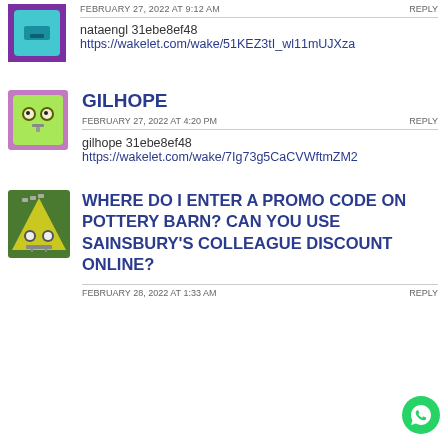FEBRUARY 27, 2022 AT 9:12 AM   REPLY
nataengl 31ebe8ef48
https://wakelet.com/wake/51KEZ3tI_wl11mUJXza
GILHOPE
FEBRUARY 27, 2022 AT 4:20 PM   REPLY
gilhope 31ebe8ef48
https://wakelet.com/wake/7Ig73g5CaCVWftmZM2
WHERE DO I ENTER A PROMO CODE ON POTTERY BARN? CAN YOU USE SAINSBURY'S COLLEAGUE DISCOUNT ONLINE?
FEBRUARY 28, 2022 AT 1:33 AM   REPLY